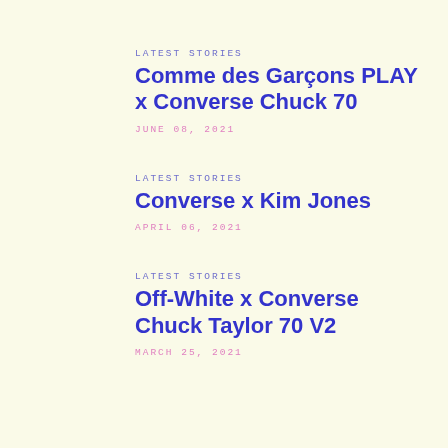LATEST STORIES
Comme des Garçons PLAY x Converse Chuck 70
JUNE 08, 2021
LATEST STORIES
Converse x Kim Jones
APRIL 06, 2021
LATEST STORIES
Off-White x Converse Chuck Taylor 70 V2
MARCH 25, 2021